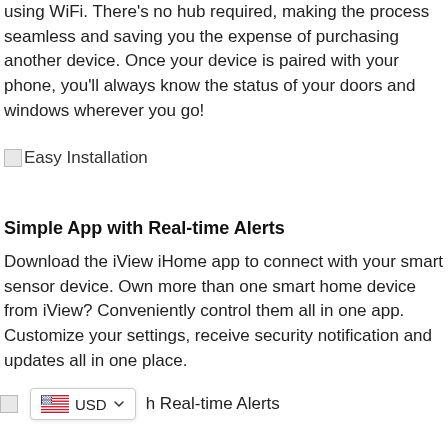using WiFi. There's no hub required, making the process seamless and saving you the expense of purchasing another device. Once your device is paired with your phone, you'll always know the status of your doors and windows wherever you go!
[Figure (photo): Broken image placeholder labeled 'Easy Installation']
Simple App with Real-time Alerts
Download the iView iHome app to connect with your smart sensor device. Own more than one smart home device from iView? Conveniently control them all in one app. Customize your settings, receive security notification and updates all in one place.
[Figure (screenshot): Bottom overlay showing a broken image icon, a USD currency selector with US flag, and partial text 'h Real-time Alerts']